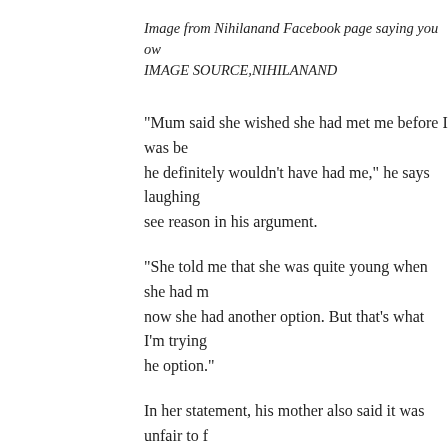Image from Nihilanand Facebook page saying you ow IMAGE SOURCE,NIHILANAND
"Mum said she wished she had met me before I was be he definitely wouldn't have had me," he says laughing see reason in his argument.
"She told me that she was quite young when she had m now she had another option. But that's what I'm trying he option."
In her statement, his mother also said it was unfair to f at he believes in".
"His belief in anti-natalism, his concern for the burden ue to needless life, his sensitivity toward the pain expe